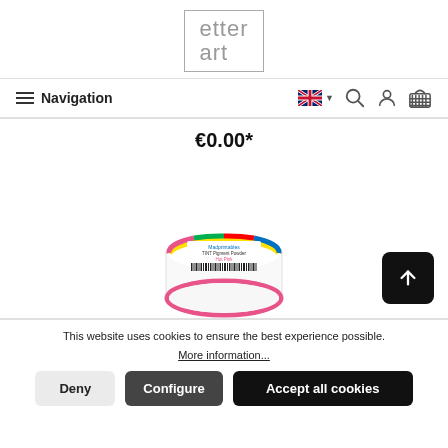[Figure (logo): etter art logo — text in a square border]
Navigation
€0.00*
[Figure (photo): Product photo of a small round container of TINT Pigment Powder Hot Pink with a colorful label and barcode, pink rim visible at bottom]
This website uses cookies to ensure the best experience possible. More information...
Deny
Configure
Accept all cookies